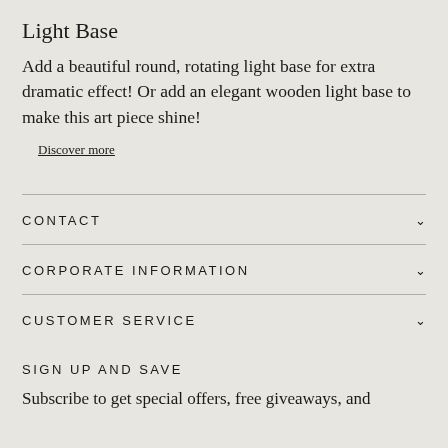Light Base
Add a beautiful round, rotating light base for extra dramatic effect! Or add an elegant wooden light base to make this art piece shine!
Discover more
CONTACT
CORPORATE INFORMATION
CUSTOMER SERVICE
SIGN UP AND SAVE
Subscribe to get special offers, free giveaways, and